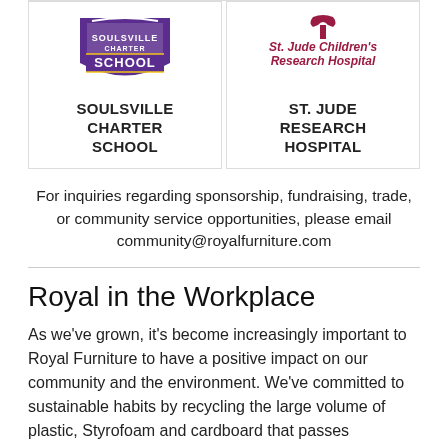[Figure (logo): Soulsville Charter School logo - purple shield with text]
SOULSVILLE CHARTER SCHOOL
[Figure (logo): St. Jude Children's Research Hospital logo - dark red text]
ST. JUDE RESEARCH HOSPITAL
For inquiries regarding sponsorship, fundraising, trade, or community service opportunities, please email community@royalfurniture.com
Royal in the Workplace
As we’ve grown, it’s become increasingly important to Royal Furniture to have a positive impact on our community and the environment. We’ve committed to sustainable habits by recycling the large volume of plastic, Styrofoam and cardboard that passes